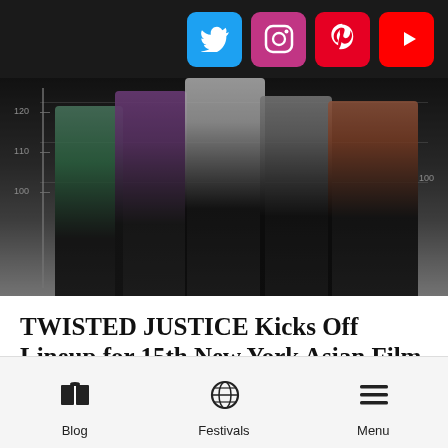Social media icons: Twitter, Instagram, Pinterest, YouTube
[Figure (photo): Movie lineup photo showing five people standing against a height measurement wall, in a police lineup style. The image is dark/moody. Numbers 100, 110, 120 visible on the ruler on the left side.]
TWISTED JUSTICE Kicks Off Lineup for 15th New York Asian Film Festival
The lineup was released this week for the 15th New York Asian Film Festival (NYAFF), which will take place
Blog | Festivals | Menu